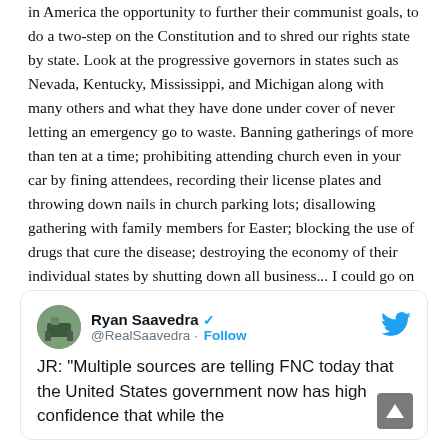in America the opportunity to further their communist goals, to do a two-step on the Constitution and to shred our rights state by state. Look at the progressive governors in states such as Nevada, Kentucky, Mississippi, and Michigan along with many others and what they have done under cover of never letting an emergency go to waste. Banning gatherings of more than ten at a time; prohibiting attending church even in your car by fining attendees, recording their license plates and throwing down nails in church parking lots; disallowing gathering with family members for Easter; blocking the use of drugs that cure the disease; destroying the economy of their individual states by shutting down all business... I could go on and on. This feels orchestrated to me. Americans know this is wrong and are fed up with it.
[Figure (screenshot): Embedded tweet from @RealSaavedra (Ryan Saavedra, verified) with Twitter bird icon. Tweet text: JR: "Multiple sources are telling FNC today that the United States government now has high confidence that while the]